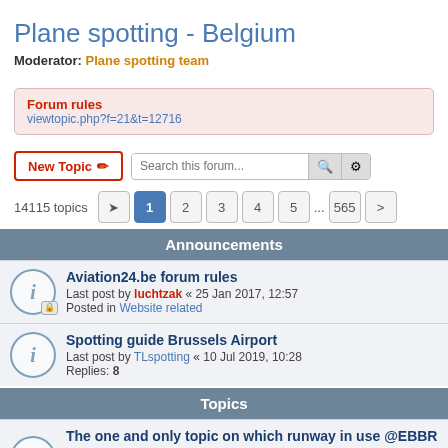Plane spotting - Belgium
Moderator: Plane spotting team
Forum rules
viewtopic.php?f=21&t=12716
New Topic  Search this forum...
14115 topics  1 2 3 4 5 ... 565
Announcements
Aviation24.be forum rules
Last post by luchtzak « 25 Jan 2017, 12:57
Posted in Website related
Spotting guide Brussels Airport
Last post by TLspotting « 10 Jul 2019, 10:28
Replies: 8
Topics
The one and only topic on which runway in use @EBBR
Last post by sn26567 « 19 Aug 2022, 12:16
Replies: 634